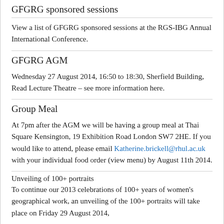GFGRG sponsored sessions
View a list of GFGRG sponsored sessions at the RGS-IBG Annual International Conference.
GFGRG AGM
Wednesday 27 August 2014, 16:50 to 18:30, Sherfield Building, Read Lecture Theatre – see more information here.
Group Meal
At 7pm after the AGM we will be having a group meal at Thai Square Kensington, 19 Exhibition Road London SW7 2HE. If you would like to attend, please email Katherine.brickell@rhul.ac.uk with your individual food order (view menu) by August 11th 2014.
Unveiling of 100+ portraits
To continue our 2013 celebrations of 100+ years of women's geographical work, an unveiling of the 100+ portraits will take place on Friday 29 August 2014,